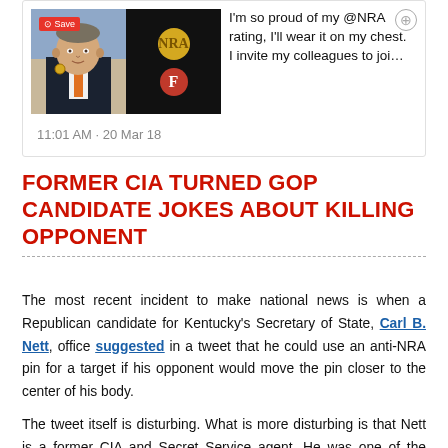[Figure (screenshot): Screenshot of a tweet showing a man wearing a suit with a medal pin, next to a black background with a gold coin and a red 'F' badge. Tweet text reads: "I'm so proud of my @NRA rating, I'll wear it on my chest. I invite my colleagues to joi…" Timestamp: 11:01 AM · 20 Mar 18]
Former CIA Turned GOP Candidate Jokes About Killing Opponent
The most recent incident to make national news is when a Republican candidate for Kentucky's Secretary of State, Carl B. Nett, office suggested in a tweet that he could use an anti-NRA pin for a target if his opponent would move the pin closer to the center of his body.
The tweet itself is disturbing. What is more disturbing is that Nett is a former CIA and Secret Service agent. He was one of the people that our…